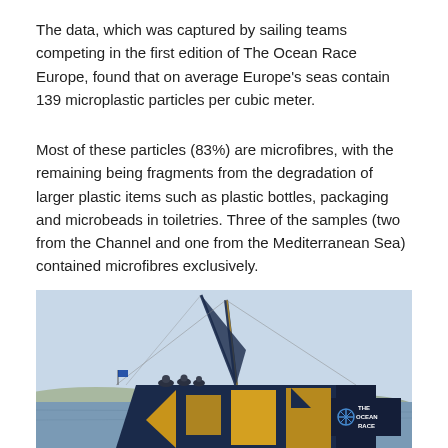The data, which was captured by sailing teams competing in the first edition of The Ocean Race Europe, found that on average Europe's seas contain 139 microplastic particles per cubic meter.
Most of these particles (83%) are microfibres, with the remaining being fragments from the degradation of larger plastic items such as plastic bottles, packaging and microbeads in toiletries. Three of the samples (two from the Channel and one from the Mediterranean Sea) contained microfibres exclusively.
[Figure (photo): A racing sailboat with a dark navy blue hull decorated with gold/yellow geometric triangle patterns, branded with 'THE OCEAN RACE' logo on the stern. Crew members are visible on deck. The boat is on open water under a light blue sky.]